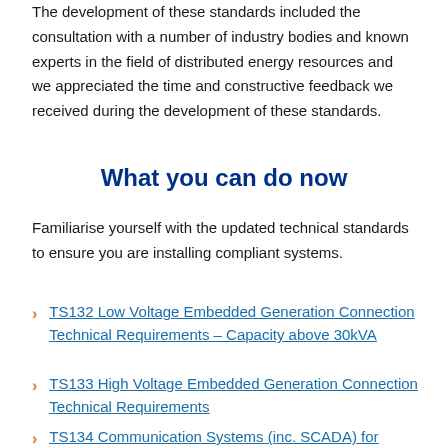The development of these standards included the consultation with a number of industry bodies and known experts in the field of distributed energy resources and we appreciated the time and constructive feedback we received during the development of these standards.
What you can do now
Familiarise yourself with the updated technical standards to ensure you are installing compliant systems.
TS132 Low Voltage Embedded Generation Connection Technical Requirements – Capacity above 30kVA
TS133 High Voltage Embedded Generation Connection Technical Requirements
TS134 Communication Systems (inc. SCADA) for